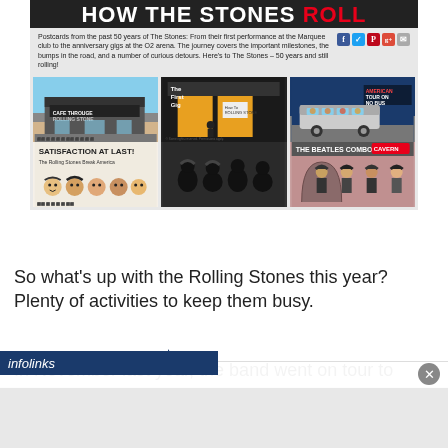[Figure (infographic): How The Stones Roll infographic banner with title bar, description text, social media icons, and a 2-row 3-column grid of illustrated postcard images depicting milestones in The Rolling Stones' history. Images include the Marquee club, The First Gig, American Tour on a bus, Satisfaction at Last! Breaking America, silhouetted figures, and The Beatles Combo at the Cavern.]
Postcards from the past 50 years of The Stones: From their first performance at the Marquee club to the anniversary gigs at the O2 arena. The journey covers the important milestones, the bumps in the road, and a number of curious detours. Here's to The Stones – 50 years and still rolling!
So what's up with the Rolling Stones this year? Plenty of activities to keep them busy.
In November last year, the band went on tour to play two
infolinks